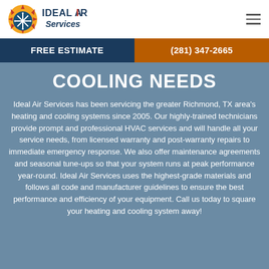[Figure (logo): Ideal Air Services logo with sun and snowflake icon in red/orange/blue]
FREE ESTIMATE | (281) 347-2665
COOLING NEEDS
Ideal Air Services has been servicing the greater Richmond, TX area's heating and cooling systems since 2005. Our highly-trained technicians provide prompt and professional HVAC services and will handle all your service needs, from licensed warranty and post-warranty repairs to immediate emergency response. We also offer maintenance agreements and seasonal tune-ups so that your system runs at peak performance year-round. Ideal Air Services uses the highest-grade materials and follows all code and manufacturer guidelines to ensure the best performance and efficiency of your equipment. Call us today to square your heating and cooling system away!